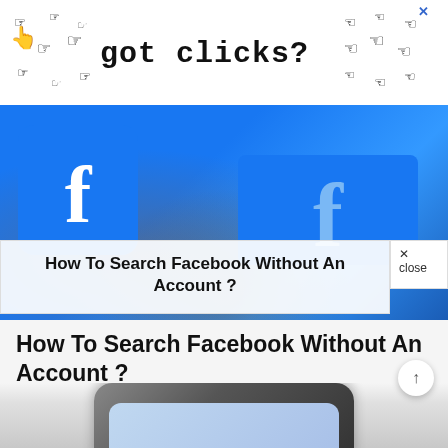[Figure (screenshot): Advertisement banner with pixel-art pointing hands and text 'got clicks?' with a close X button]
[Figure (photo): Facebook logo images on screens/tablets with blue background, showing the letter f]
How To Search Facebook Without An Account ?
× close
How To Search Facebook Without An Account ?
by admin
about a month ago
[Figure (photo): Bottom portion of a smartphone lying flat on a surface with a plant in the background]